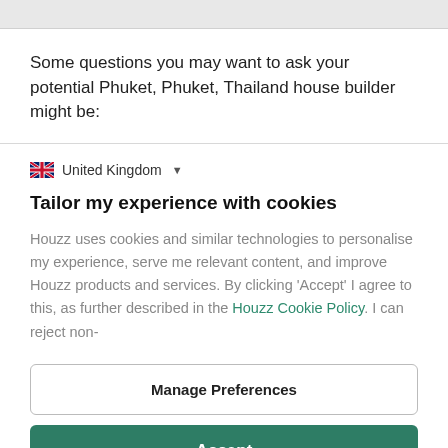Some questions you may want to ask your potential Phuket, Phuket, Thailand house builder might be:
🇬🇧 United Kingdom ▼
Tailor my experience with cookies
Houzz uses cookies and similar technologies to personalise my experience, serve me relevant content, and improve Houzz products and services. By clicking 'Accept' I agree to this, as further described in the Houzz Cookie Policy. I can reject non-
Manage Preferences
Accept